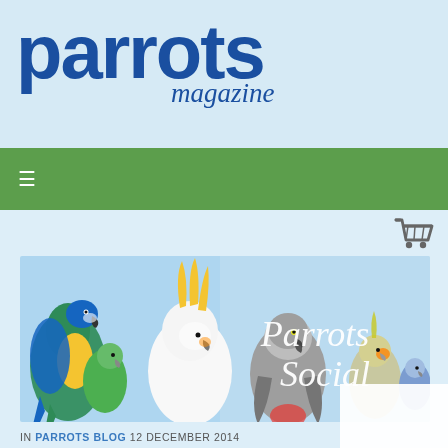parrots magazine
[Figure (illustration): Green navigation bar with hamburger menu icon (three horizontal lines) on green background]
[Figure (illustration): Shopping cart icon in gray]
[Figure (illustration): Parrots Social banner image showing multiple parrot species (macaw, cockatoo, African grey, cockatiel, budgie) on light blue background with italic text 'Parrots Social']
IN PARROTS BLOG 12 DECEMBER 2014
HOMEMADE NEW YEAR'S TREAT FOR PARROTS